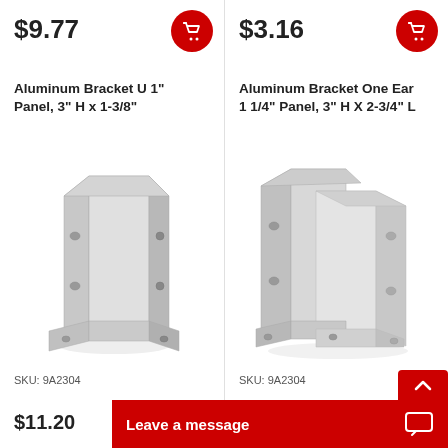$9.77
$3.16
Aluminum Bracket U 1" Panel, 3" H x 1-3/8"
Aluminum Bracket One Ear 1 1/4" Panel, 3" H X 2-3/4" L
[Figure (photo): Aluminum U-shaped bracket, silver finish, with mounting holes]
[Figure (photo): Aluminum one-ear bracket, silver finish, with mounting holes]
SKU: 9A2304
SKU: 9A2304
$11.20
Leave a message